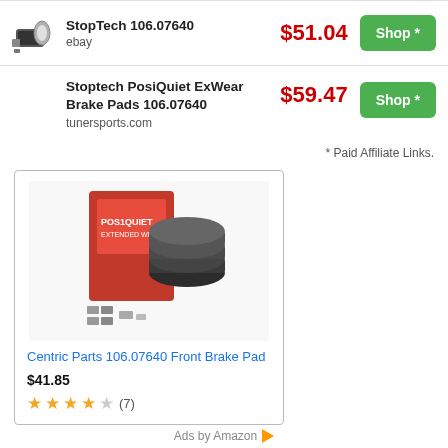| Product | Price | Action |
| --- | --- | --- |
| StopTech 106.07640
ebay | $51.04 | Shop * |
| Stoptech PosiQuiet ExWear Brake Pads 106.07640
tunersports.com | $59.47 | Shop * |
* Paid Affiliate Links.
[Figure (photo): Product photo of Centric Parts 106.07640 Front Brake Pad set with box and brake pads displayed]
Centric Parts 106.07640 Front Brake Pad
$41.85
★★★★☆ (7)
Ads by Amazon